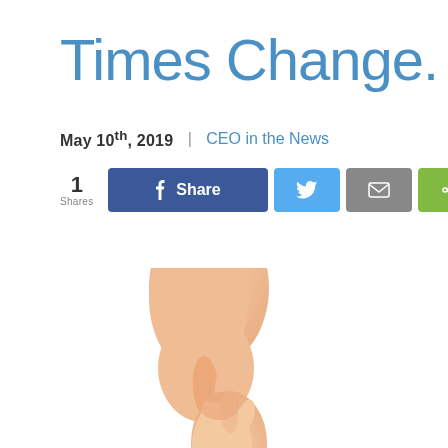Times Change.
May 10th, 2019  |  CEO in the News
[Figure (screenshot): Social share bar with count '1 Shares', Facebook Share button (dark blue), Twitter button (light blue), Email button (grey), and a share button (green)]
[Figure (photo): An adult hand holding a small baby's hand against a white background]